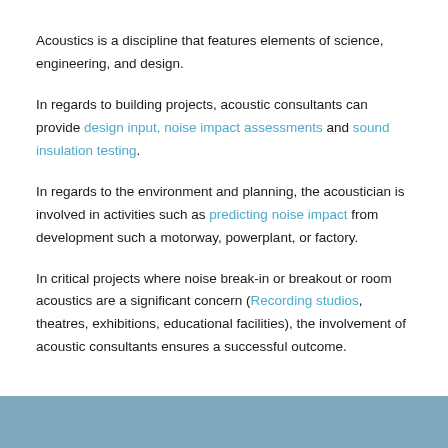Acoustics is a discipline that features elements of science, engineering, and design.
In regards to building projects, acoustic consultants can provide design input, noise impact assessments and sound insulation testing.
In regards to the environment and planning, the acoustician is involved in activities such as predicting noise impact from development such a motorway, powerplant, or factory.
In critical projects where noise break-in or breakout or room acoustics are a significant concern (Recording studios, theatres, exhibitions, educational facilities), the involvement of acoustic consultants ensures a successful outcome.